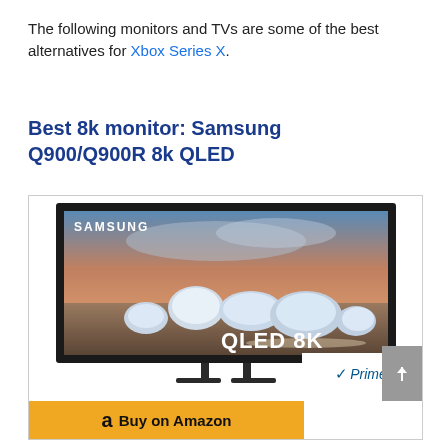The following monitors and TVs are some of the best alternatives for Xbox Series X.
Best 8k monitor: Samsung Q900/Q900R 8k QLED
[Figure (photo): Samsung QLED 8K TV product image showing a widescreen TV displaying icy landscape with 'SAMSUNG' logo in top left and 'QLED 8K' text overlay, with Amazon Prime badge and Buy on Amazon button below]